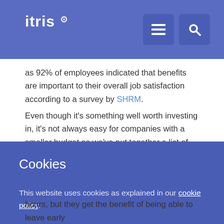itris
as 92% of employees indicated that benefits are important to their overall job satisfaction according to a survey by SHRM.
Even though it's something well worth investing in, it's not always easy for companies with a smaller budget so we've put together a list of six inexpensive benefits which won't
Cookies
This website uses cookies as explained in our cookie policy.
ACCEPT ✓   DECLINE ✕
hours, but they get the benefit of being able to leave early